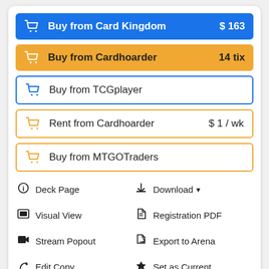Buy from Card Kingdom $163
Buy from Cardhoarder 14 tix
Buy from TCGplayer
Rent from Cardhoarder $1/wk
Buy from MTGOTraders
Deck Page
Download
Visual View
Registration PDF
Stream Popout
Export to Arena
Edit Copy
Set as Current
Print Proxies